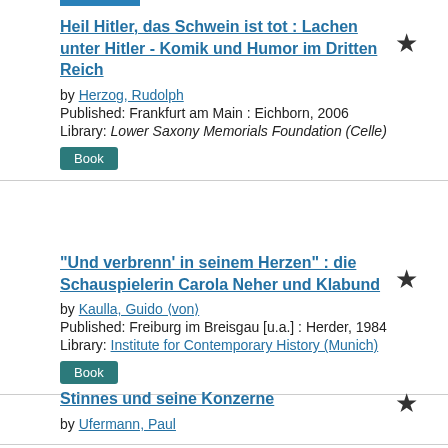Heil Hitler, das Schwein ist tot : Lachen unter Hitler - Komik und Humor im Dritten Reich
by Herzog, Rudolph
Published: Frankfurt am Main : Eichborn, 2006
Library: Lower Saxony Memorials Foundation (Celle)
Book
"Und verbrenn' in seinem Herzen" : die Schauspielerin Carola Neher und Klabund
by Kaulla, Guido ⟨von⟩
Published: Freiburg im Breisgau [u.a.] : Herder, 1984
Library: Institute for Contemporary History (Munich)
Book
Stinnes und seine Konzerne
by Ufermann, Paul